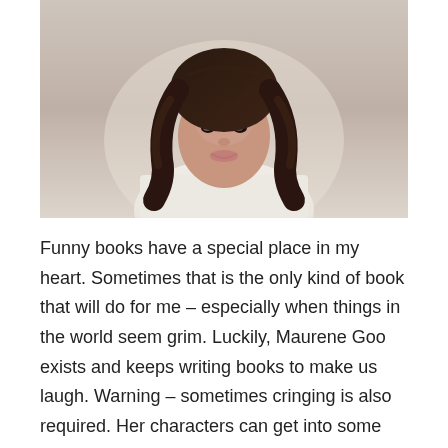[Figure (photo): Portrait photo of a woman with long dark wavy hair, wearing a white/cream colored top, sitting against a light background, smiling slightly]
Funny books have a special place in my heart. Sometimes that is the only kind of book that will do for me – especially when things in the world seem grim. Luckily, Maurene Goo exists and keeps writing books to make us laugh. Warning – sometimes cringing is also required. Her characters can get into some embarrassing situations.
When I had the chance to go see Maurene during